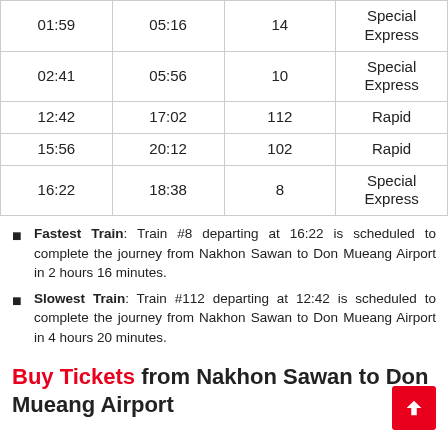| 01:59 | 05:16 | 14 | Special Express |
| 02:41 | 05:56 | 10 | Special Express |
| 12:42 | 17:02 | 112 | Rapid |
| 15:56 | 20:12 | 102 | Rapid |
| 16:22 | 18:38 | 8 | Special Express |
Fastest Train: Train #8 departing at 16:22 is scheduled to complete the journey from Nakhon Sawan to Don Mueang Airport in 2 hours 16 minutes.
Slowest Train: Train #112 departing at 12:42 is scheduled to complete the journey from Nakhon Sawan to Don Mueang Airport in 4 hours 20 minutes.
Buy Tickets from Nakhon Sawan to Don Mueang Airport